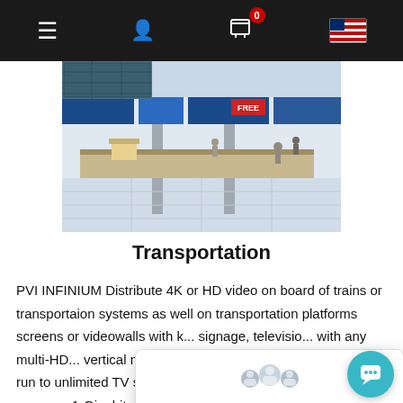Navigation bar with menu, user, cart (0), flag icons
[Figure (photo): Airport terminal interior with check-in counters, digital signage boards, travelers walking, bright retail signs including FREE]
Transportation
PVI INFINIUM Distribute 4K or HD video on board of trains or transportaion systems as well on transportation platforms screens or videowalls with k... signage, televisio... with any multi-HD... vertical modes. U... over coax the distribution can run to unlimited TV sets at any distance. Over IP can run over common 1-Gigabit network switches and receive over IP-TVs, Android Boxes,